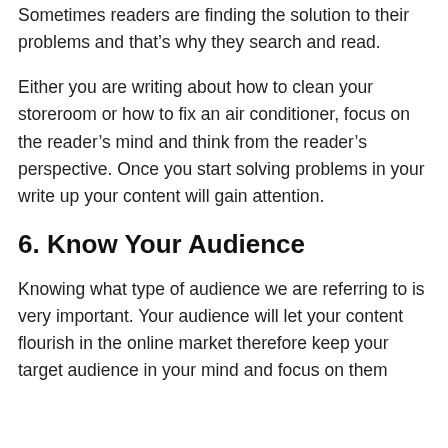Sometimes readers are finding the solution to their problems and that's why they search and read.
Either you are writing about how to clean your storeroom or how to fix an air conditioner, focus on the reader's mind and think from the reader's perspective. Once you start solving problems in your write up your content will gain attention.
6. Know Your Audience
Knowing what type of audience we are referring to is very important. Your audience will let your content flourish in the online market therefore keep your target audience in your mind and focus on them